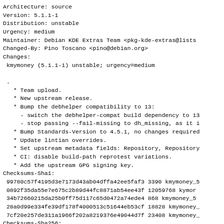Architecture: source
Version: 5.1.1-1
Distribution: unstable
Urgency: medium
Maintainer: Debian KDE Extras Team <pkg-kde-extras@lists
Changed-By: Pino Toscano <pino@debian.org>
Changes:
 kmymoney (5.1.1-1) unstable; urgency=medium

 .
   * Team upload.
   * New upstream release.
   * Bump the debhelper compatibility to 13:
     - switch the debhelper-compat build dependency to 13
     - stop passing --fail-missing to dh_missing, as it is
   * Bump Standards-Version to 4.5.1, no changes required
   * Update lintian overrides.
   * Set upstream metadata fields: Repository, Repository
   * CI: disable build-path reprotest variations.
   * Add the upstream GPG signing key.
Checksums-Sha1:
 99780c57f4195d3e7173d43ab04dffa42ee5faf3 3390 kmymoney_5
 0892f35da55e7e675c2b89d44fc8871ab54ee43f 12059768 kymor
 34b72660215da25b0ff75d117c65d0472a74ede4 868 kmymoney_5
 28a0d99e334fe39df178f4000513c51644eb53cf 18828 kmymoney_
 7cf20e257de311a1966f202a8219376e49044d7f 23408 kmymoney_
Checksums-Sha256:
 fc52d5e2e0183c8aae72bbe34dba8a86d0cd2e2fb5f9aee72c1366ae
 df7b9f78e8596f99d28295ca738708f0655ee057789dfd921c7b1bak
 fa58010c6786fa34cd6c38f127b2b2e0dbefed839841338ca56d3bd0
 cabc2cc284217816a69ea2af759505625fecbb15b37c14bc4155a9at
 b37f0c0c05ed20c27aef353bf176bbb3000b053e41e704b33c0c...